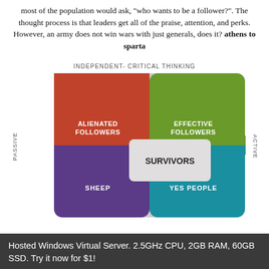most of the population would ask, "who wants to be a follower?". The thought process is that leaders get all of the praise, attention, and perks. However, an army does not win wars with just generals, does it? athens to sparta
[Figure (infographic): 2x2 quadrant diagram showing follower types. Y-axis: PASSIVE (left) to ACTIVE (right). X-axis label at top: INDEPENDENT-CRITICAL THINKING. Four quadrants: top-left red = ALIENATED FOLLOWERS, top-right green = EFFECTIVE FOLLOWERS, bottom-left purple = SHEEP, bottom-right teal = YES PEOPLE. Center overlay box = SURVIVORS.]
Hosted Windows Virtual Server. 2.5GHz CPU, 2GB RAM, 60GB SSD. Try it now for $1!